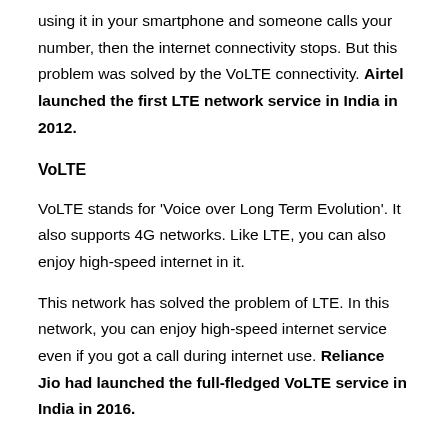using it in your smartphone and someone calls your number, then the internet connectivity stops. But this problem was solved by the VoLTE connectivity. Airtel launched the first LTE network service in India in 2012.
VoLTE
VoLTE stands for 'Voice over Long Term Evolution'. It also supports 4G networks. Like LTE, you can also enjoy high-speed internet in it.
This network has solved the problem of LTE. In this network, you can enjoy high-speed internet service even if you got a call during internet use. Reliance Jio had launched the full-fledged VoLTE service in India in 2016.